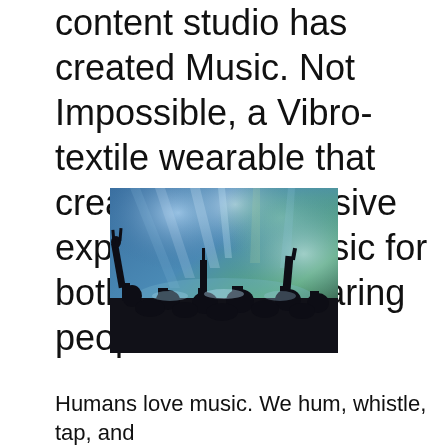content studio has created Music. Not Impossible, a Vibro-textile wearable that creates an immersive experience of music for both deaf and hearing people.
[Figure (photo): Concert crowd silhouettes with arms and hands raised against colorful blue and green stage lights]
Humans love music. We hum, whistle, tap, and